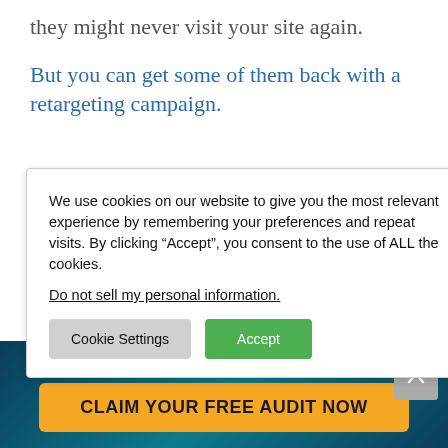they might never visit your site again.
But you can get some of them back with a retargeting campaign.
We use cookies on our website to give you the most relevant experience by remembering your preferences and repeat visits. By clicking “Accept”, you consent to the use of ALL the cookies.
Do not sell my personal information.
[Cookie Settings] [Accept]
and in their
gns often
lling a good
al of
nies spend
We’ll increase your conversions by 20-100%
CLAIM YOUR FREE AUDIT NOW